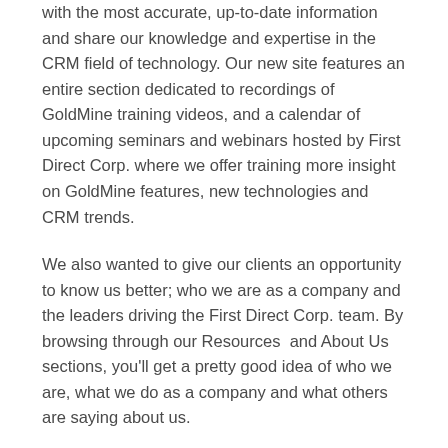with the most accurate, up-to-date information and share our knowledge and expertise in the CRM field of technology. Our new site features an entire section dedicated to recordings of GoldMine training videos, and a calendar of upcoming seminars and webinars hosted by First Direct Corp. where we offer training more insight on GoldMine features, new technologies and CRM trends.
We also wanted to give our clients an opportunity to know us better; who we are as a company and the leaders driving the First Direct Corp. team. By browsing through our Resources  and About Us sections, you'll get a pretty good idea of who we are, what we do as a company and what others are saying about us.
You'll find our new site is divided into five main sections: About Us, Online Events, Products, Services, and Resources. We shifted to a client-centric layout so our clients could easily navigate our site and locate the information they are seeking. The Products and Services  sections provides detailed descriptions about the solutions and services First Direct Corp. proudly offers. Our Online Events page displays a monthly calendar view of all our